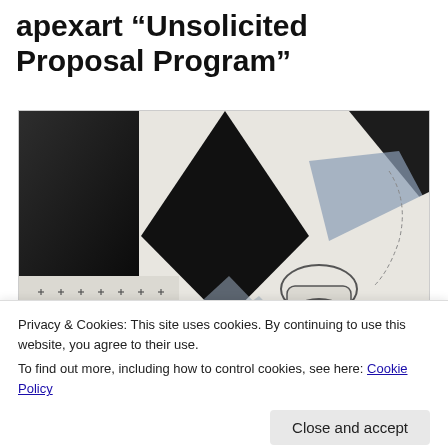apexart “Unsolicited Proposal Program”
[Figure (illustration): Abstract artwork featuring large black geometric shapes (rectangles, triangles, diamond) on white background, with a small grid pattern of plus signs in lower left, blue-grey angular shapes, and a drawn toilet in the lower right area.]
Privacy & Cookies: This site uses cookies. By continuing to use this website, you agree to their use.
To find out more, including how to control cookies, see here: Cookie Policy
[Figure (photo): Partial view of another artwork at the bottom of the page, dark tones with some line elements visible.]